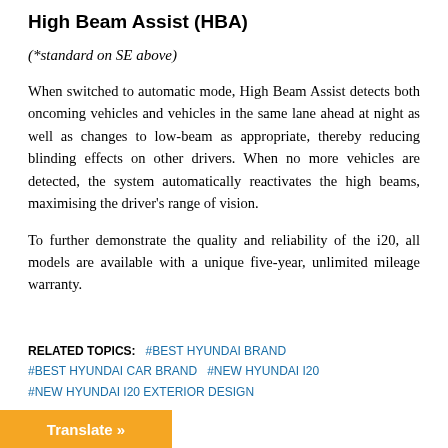High Beam Assist (HBA)
(*standard on SE above)
When switched to automatic mode, High Beam Assist detects both oncoming vehicles and vehicles in the same lane ahead at night as well as changes to low-beam as appropriate, thereby reducing blinding effects on other drivers. When no more vehicles are detected, the system automatically reactivates the high beams, maximising the driver's range of vision.
To further demonstrate the quality and reliability of the i20, all models are available with a unique five-year, unlimited mileage warranty.
RELATED TOPICS:   #BEST HYUNDAI BRAND   #BEST HYUNDAI CAR BRAND   #NEW HYUNDAI I20   #NEW HYUNDAI I20 EXTERIOR DESIGN
Translate »